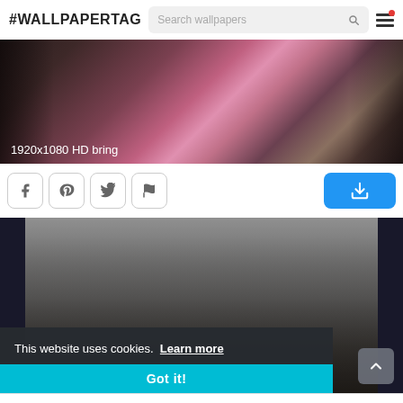#WALLPAPERTAG  Search wallpapers
[Figure (photo): Tattoo/person photo with text overlay '1920x1080 HD bring']
[Figure (screenshot): Social share buttons: Facebook, Pinterest, Twitter, Flag icon, and a blue download button]
[Figure (photo): Band photo showing multiple people against a gray wall, with cookie consent banner overlay reading 'This website uses cookies. Learn more' and a 'Got it!' button, and a scroll-to-top arrow button]
12 SHARES  [Facebook icon]  [Twitter icon]  [Pinterest icon]  [Plus icon]